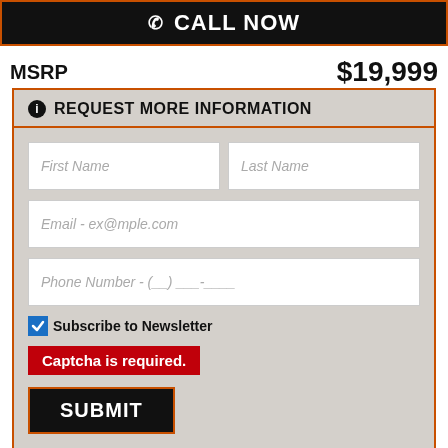CALL NOW
MSRP  $19,999
REQUEST MORE INFORMATION
First Name
Last Name
Email - ex@mple.com
Phone Number - (__) ___-____
Subscribe to Newsletter
Captcha is required.
SUBMIT
By pressing SUBMIT, you agree that DX1, LLC and Harley-Davidson of Quantico may call/text you at the number provided, for either informational or marketing purposes, using an automatic telephone dialing system or pre-recorded (artificial